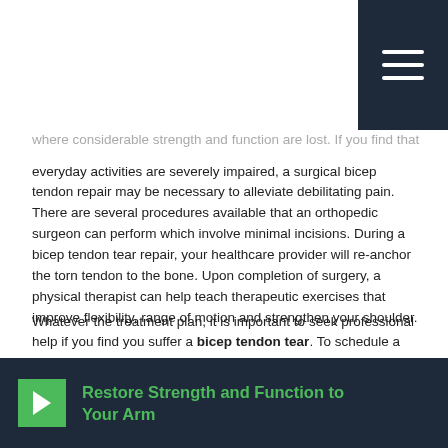Navigation menu icon (hamburger) in dark navy header bar
where considerable strength and function are lost. If you find that everyday activities are severely impaired, a surgical bicep tendon repair may be necessary to alleviate debilitating pain. There are several procedures available that an orthopedic surgeon can perform which involve minimal incisions. During a bicep tendon tear repair, your healthcare provider will re-anchor the torn tendon to the bone. Upon completion of surgery, a physical therapist can help teach therapeutic exercises that improve flexibility, range of motion and strengthen your shoulder.
Whatever the treatment plan, it is important to seek professional help if you find you suffer a bicep tendon tear. To schedule a consultation with a qualified orthopedic surgeon in Van Nuys that can repair your bicep tendon tear or suggest non-surgical remedies, call (424) 365-1800 or contact Vitality Integrative Medicine online .
[Figure (infographic): Dark navy banner with green arrow button and bold green text reading 'Restore Strength and Function to Your Arm']